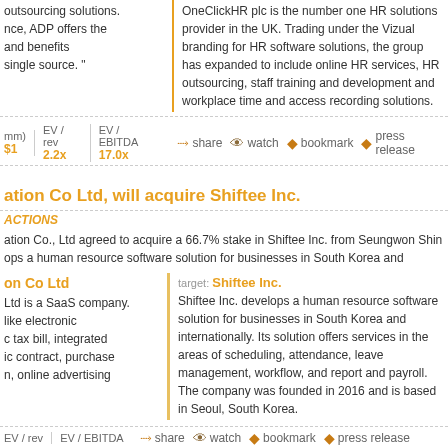outsourcing solutions. nce, ADP offers the and benefits single source. "
OneClickHR plc is the number one HR solutions provider in the UK. Trading under the Vizual branding for HR software solutions, the group has expanded to include online HR services, HR outsourcing, staff training and development and workplace time and access recording solutions.
EV / rev  EV / EBITDA  share  watch  bookmark  press release
$1  2.2x  17.0x
ation Co Ltd, will acquire Shiftee Inc.
ACTIONS
ation Co., Ltd agreed to acquire a 66.7% stake in Shiftee Inc. from Seungwon Shin ops a human resource software solution for businesses in South Korea and
on Co Ltd
Ltd is a SaaS company. like electronic c tax bill, integrated ic contract, purchase n, online advertising
target: Shiftee Inc.
Shiftee Inc. develops a human resource software solution for businesses in South Korea and internationally. Its solution offers services in the areas of scheduling, attendance, leave management, workflow, and report and payroll. The company was founded in 2016 and is based in Seoul, South Korea.
EV / rev  EV / EBITDA  share  watch  bookmark  press release